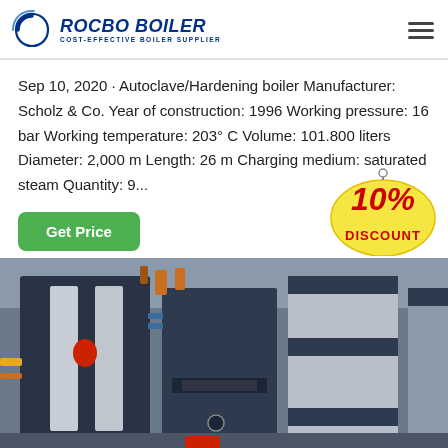[Figure (logo): Rocbo Boiler logo with circular wave icon and text 'ROCBO BOILER / COST-EFFECTIVE BOILER SUPPLIER']
Sep 10, 2020 · Autoclave/Hardening boiler Manufacturer: Scholz & Co. Year of construction: 1996 Working pressure: 16 bar Working temperature: 203° C Volume: 101.800 liters Diameter: 2,000 m Length: 26 m Charging medium: saturated steam Quantity: 9...
[Figure (illustration): Green 'Get Price' button]
[Figure (illustration): 10% DISCOUNT badge/tag in red and yellow]
[Figure (photo): Industrial boiler equipment in a boiler room, showing large dark blue/grey boiler units with silver panels and red/copper piping]